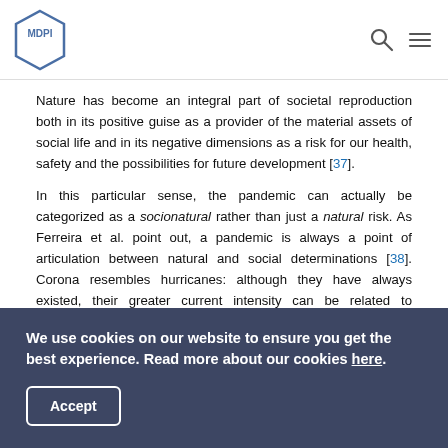MDPI
Nature has become an integral part of societal reproduction both in its positive guise as a provider of the material assets of social life and in its negative dimensions as a risk for our health, safety and the possibilities for future development [37].
In this particular sense, the pandemic can actually be categorized as a socionatural rather than just a natural risk. As Ferreira et al. point out, a pandemic is always a point of articulation between natural and social determinations [38]. Corona resembles hurricanes: although they have always existed, their greater current intensity can be related to anthropogenic climate change [39]. Likewise, changing patterns
We use cookies on our website to ensure you get the best experience. Read more about our cookies here.
Accept